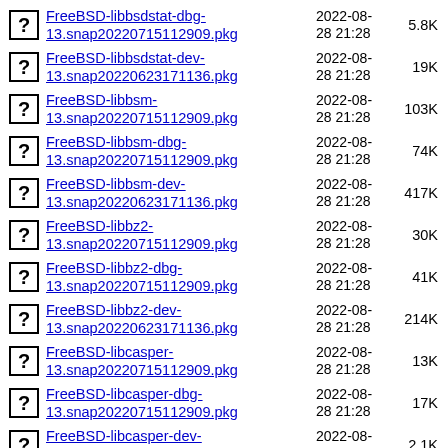FreeBSD-libbsdstat-dbg-13.snap20220715112909.pkg  2022-08-28 21:28  5.8K
FreeBSD-libbsdstat-dev-13.snap20220623171136.pkg  2022-08-28 21:28  19K
FreeBSD-libbsm-13.snap20220715112909.pkg  2022-08-28 21:28  103K
FreeBSD-libbsm-dbg-13.snap20220715112909.pkg  2022-08-28 21:28  74K
FreeBSD-libbsm-dev-13.snap20220623171136.pkg  2022-08-28 21:28  417K
FreeBSD-libbz2-13.snap20220715112909.pkg  2022-08-28 21:28  30K
FreeBSD-libbz2-dbg-13.snap20220715112909.pkg  2022-08-28 21:28  41K
FreeBSD-libbz2-dev-13.snap20220623171136.pkg  2022-08-28 21:28  214K
FreeBSD-libcasper-13.snap20220715112909.pkg  2022-08-28 21:28  13K
FreeBSD-libcasper-dbg-13.snap20220715112909.pkg  2022-08-28 21:28  17K
FreeBSD-libcasper-dev-13.snap20220309232929.pkg  2022-08-28 21:28  2.1K
FreeBSD-lib... (partial, cut off)  2022-08-...